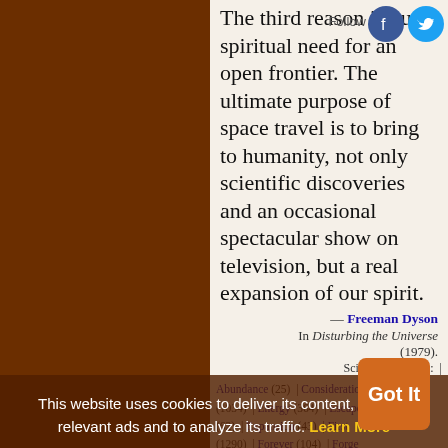The third reason is our spiritual need for an open frontier. The ultimate purpose of space travel is to bring to humanity, not only scientific discoveries and an occasional spectacular show on television, but a real expansion of our spirit.
— Freeman Dyson In Disturbing the Universe (1979).
Science quotes on: | Abundance (25) | Consideration (142) | Earth (1034) | Energy (364) | Escape (62) | Expansion (43) | First (1290) | Forever (104) | Forge | Garbage (8) | Frontier (41) | Humanity (178) | Live (637) | Living (492) | Material (358) | Mineral (66) | Occasional | Open (277) | Planet
This website uses cookies to deliver its content, to show relevant ads and to analyze its traffic. Learn More